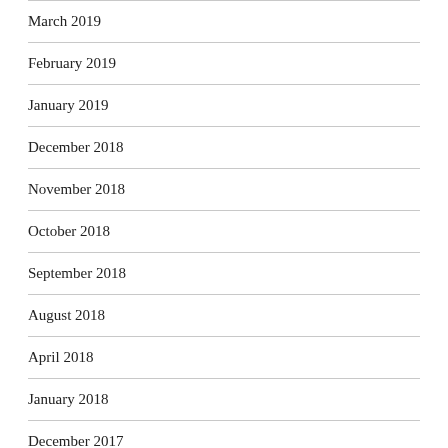March 2019
February 2019
January 2019
December 2018
November 2018
October 2018
September 2018
August 2018
April 2018
January 2018
December 2017